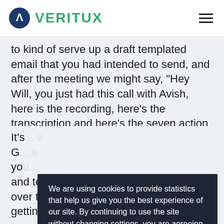VERITUX
to kind of serve up a draft templated email that you had intended to send, and after the meeting we might say, "Hey Will, you just had this call with Avish, here is the recording, here's the transcription and here's the seven action items that came out of this meeting and here's the four draft emails that you should take a look at to review. Review them here and click this to send." Yo... d se...
We are using cookies to provide statistics that help us give you the best experience of our site. By continuing to use the site without changing settings, you are agreeing to our use of cookies. I understand.
It's... e G... e yo... and text patterns that you've developed over time. That's kind of what we're getting better and